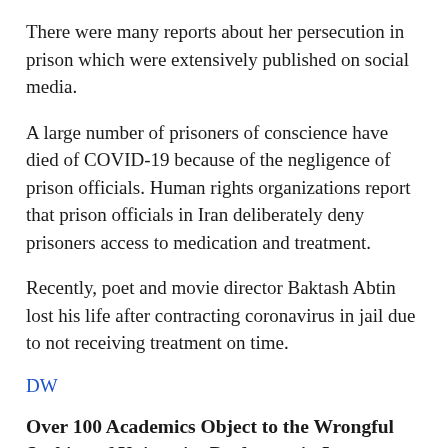There were many reports about her persecution in prison which were extensively published on social media.
A large number of prisoners of conscience have died of COVID-19 because of the negligence of prison officials. Human rights organizations report that prison officials in Iran deliberately deny prisoners access to medication and treatment.
Recently, poet and movie director Baktash Abtin lost his life after contracting coronavirus in jail due to not receiving treatment on time.
DW
Over 100 Academics Object to the Wrongful Sacking of University Professors in Iran